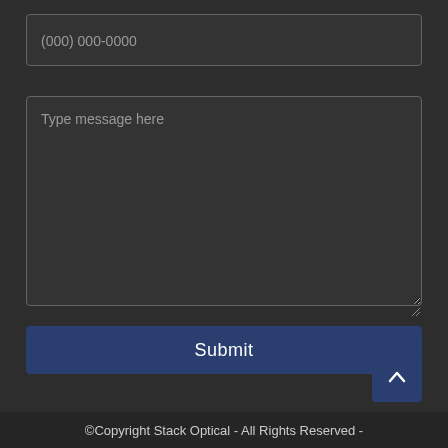(000) 000-0000
Type message here
Submit
©Copyright Stack Optical - All Rights Reserved -